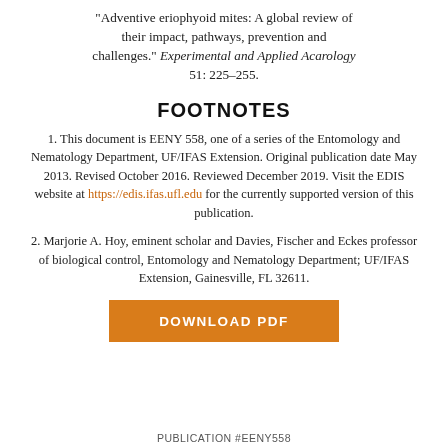"Adventive eriophyoid mites: A global review of their impact, pathways, prevention and challenges." Experimental and Applied Acarology 51: 225–255.
FOOTNOTES
1. This document is EENY 558, one of a series of the Entomology and Nematology Department, UF/IFAS Extension. Original publication date May 2013. Revised October 2016. Reviewed December 2019. Visit the EDIS website at https://edis.ifas.ufl.edu for the currently supported version of this publication.
2. Marjorie A. Hoy, eminent scholar and Davies, Fischer and Eckes professor of biological control, Entomology and Nematology Department; UF/IFAS Extension, Gainesville, FL 32611.
DOWNLOAD PDF
PUBLICATION #EENY558